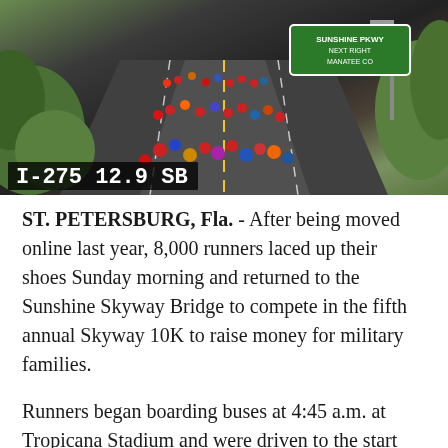[Figure (photo): Aerial/overhead traffic camera view of runners on I-275 Sunshine Skyway Bridge during a 10K race. Crowds of runners in colorful attire fill the road lanes. A green highway sign is visible in the upper right. Camera label reads 'I-275 12.9 SB' in the lower left corner.]
ST. PETERSBURG, Fla. - After being moved online last year, 8,000 runners laced up their shoes Sunday morning and returned to the Sunshine Skyway Bridge to compete in the fifth annual Skyway 10K to raise money for military families.
Runners began boarding buses at 4:45 a.m. at Tropicana Stadium and were driven to the start line, which was in Manatee County.
Northbound traffic on the Sunshine Skyway was closed from 3 to 11 a.m. on Sunday. However, a 52-year-old